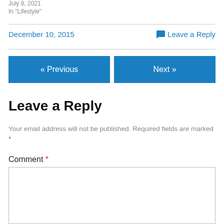July 8, 2021
In "Lifestyle"
December 10, 2015
💬 Leave a Reply
« Previous
Next »
Leave a Reply
Your email address will not be published. Required fields are marked *
Comment *